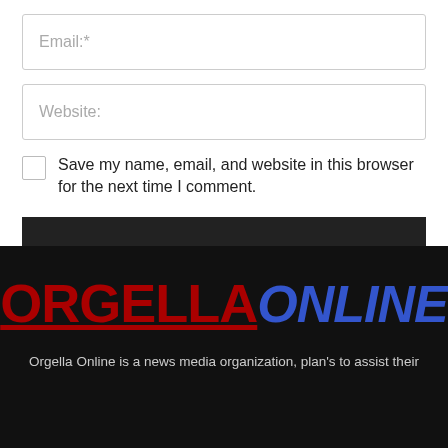Email:*
Website:
Save my name, email, and website in this browser for the next time I comment.
POST COMMENT
[Figure (logo): Orgella Online logo — ORGELLA in dark red bold uppercase with underline, ONLINE in blue bold italic uppercase]
Orgella Online is a news media organization, plan's to assist their